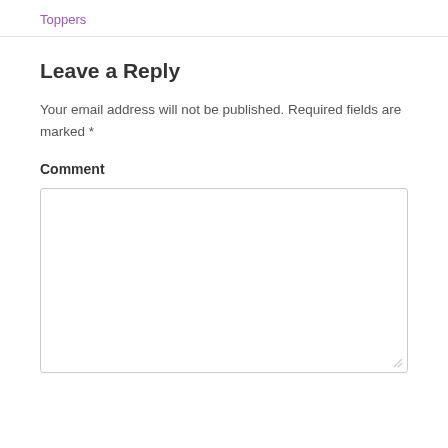Toppers
Leave a Reply
Your email address will not be published. Required fields are marked *
Comment